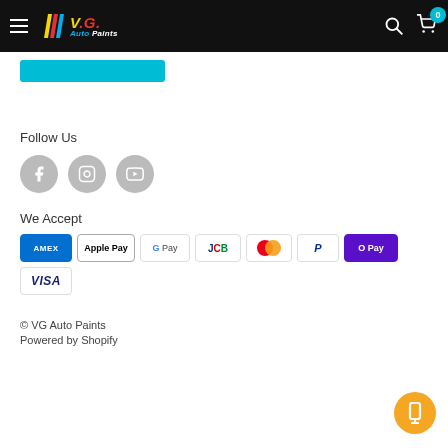V.G. Auto Paints — navigation header with hamburger menu, logo, search icon, cart icon with badge 0
[Figure (other): Cyan/teal rectangular button at top left of content area]
Follow Us
[Figure (other): Three social media circular icons: Facebook, Instagram, YouTube]
We Accept
[Figure (other): Payment method badges: AMEX, Apple Pay, G Pay, JCB, Mastercard, PayPal, O Pay, VISA]
© VG Auto Paints
Powered by Shopify